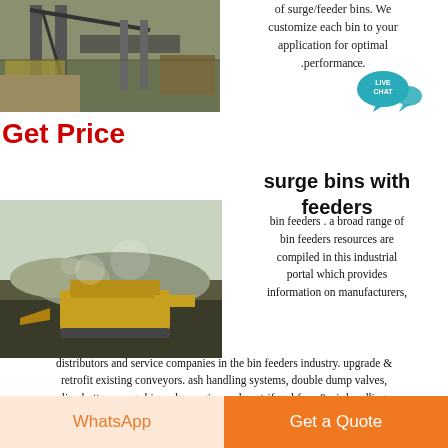[Figure (photo): Industrial mining/quarry structure with conveyor and steel framework]
of surge/feeder bins. We customize each bin to your application for optimal .performance.
[Figure (illustration): Live Chat speech bubble icon in teal/blue]
Get Price
surge bins with feeders
[Figure (photo): Heavy equipment/bulldozer working at a mining or coal handling site with dust]
bin feeders . a broad range of bin feeders resources are compiled in this industrial portal which provides information on manufacturers, distributors and service companies in the bin feeders industry. upgrade & retrofit existing conveyors. ash handling systems, double dump valves, live bottom surge bins. also engineered centrifugal fans & air handling
WhatsApp
Get a Quote